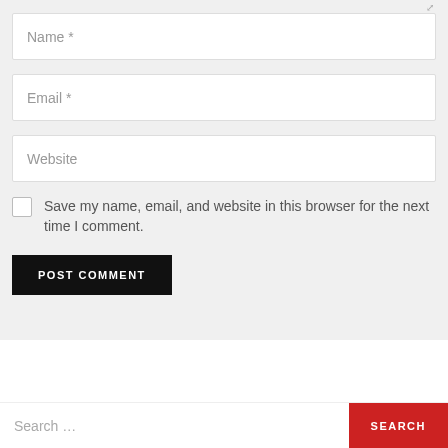[Figure (screenshot): Web comment form with Name, Email, Website input fields, a checkbox to save info, and a POST COMMENT button, all on a light gray background. Below is a white gap and a search bar with a red SEARCH button.]